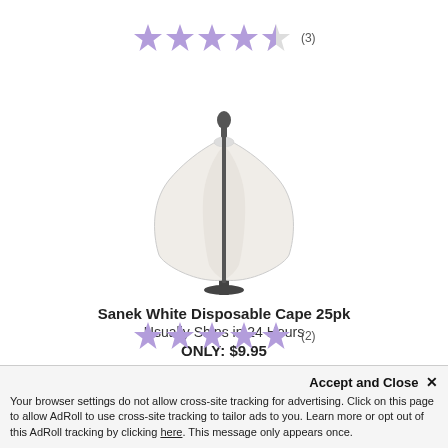[Figure (other): 4.5 out of 5 stars rating with (3) reviews — purple star icons]
[Figure (photo): Sanek White Disposable Cape on a mannequin stand, white/cream colored cape]
Sanek White Disposable Cape 25pk
Usually Ships in 24 Hours
ONLY: $9.95
[Figure (other): 5 out of 5 stars rating with (2) reviews — purple star icons]
Accept and Close ×
Your browser settings do not allow cross-site tracking for advertising. Click on this page to allow AdRoll to use cross-site tracking to tailor ads to you. Learn more or opt out of this AdRoll tracking by clicking here. This message only appears once.